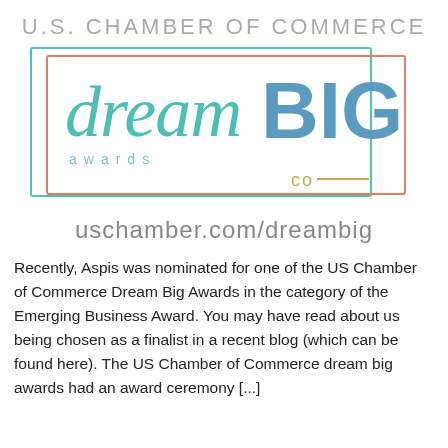U.S. CHAMBER OF COMMERCE
[Figure (logo): Dream BIG Awards Co logo with teal script 'dream', blue bold 'BIG', teal 'awards' lettering, and gold 'co—' text, inside overlapping teal/pink and orange border rectangles]
uschamber.com/dreambig
Recently, Aspis was nominated for one of the US Chamber of Commerce Dream Big Awards in the category of the Emerging Business Award. You may have read about us being chosen as a finalist in a recent blog (which can be found here). The US Chamber of Commerce dream big awards had an award ceremony [...]